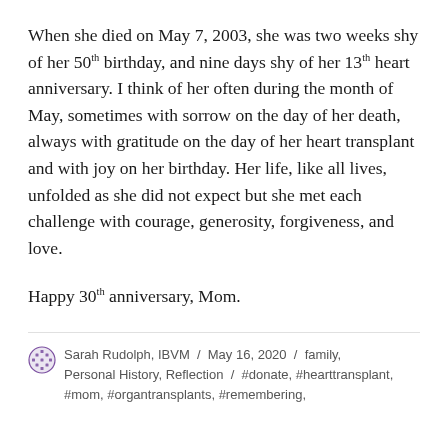When she died on May 7, 2003, she was two weeks shy of her 50th birthday, and nine days shy of her 13th heart anniversary. I think of her often during the month of May, sometimes with sorrow on the day of her death, always with gratitude on the day of her heart transplant and with joy on her birthday. Her life, like all lives, unfolded as she did not expect but she met each challenge with courage, generosity, forgiveness, and love.
Happy 30th anniversary, Mom.
Sarah Rudolph, IBVM / May 16, 2020 / family, Personal History, Reflection / #donate, #hearttransplant, #mom, #organtransplants, #remembering,